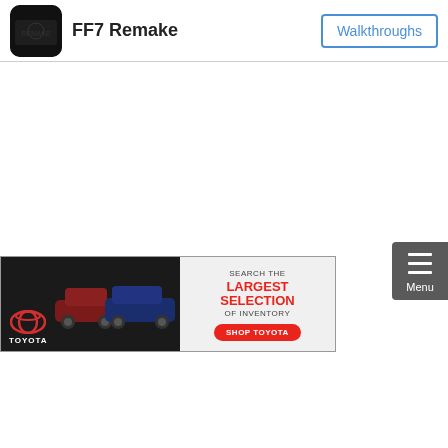[Figure (logo): FF7 Remake game icon - dark square with rounded corners showing game imagery]
FF7 Remake
Walkthroughs
[Figure (illustration): Menu button - dark grey rounded rectangle with three horizontal lines (hamburger icon) and 'Menu' label]
[Figure (photo): Toyota advertisement banner showing cars (dark red/maroon and dark blue/navy) on black background with Toyota logo and text: SEARCH THE LARGEST SELECTION OF INVENTORY SHOP TOYOTA]